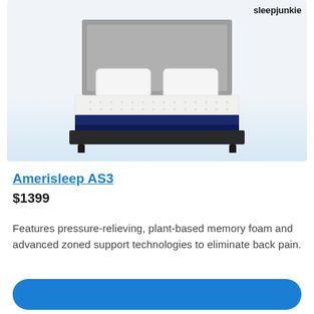sleepjunkie
[Figure (photo): Product photo of the Amerisleep AS3 mattress on a dark platform bed frame with gray upholstered headboard and two white pillows, set against a light blue-gray background.]
Amerisleep AS3
$1399
Features pressure-relieving, plant-based memory foam and advanced zoned support technologies to eliminate back pain.
[Figure (other): Blue call-to-action button at the bottom of the page.]